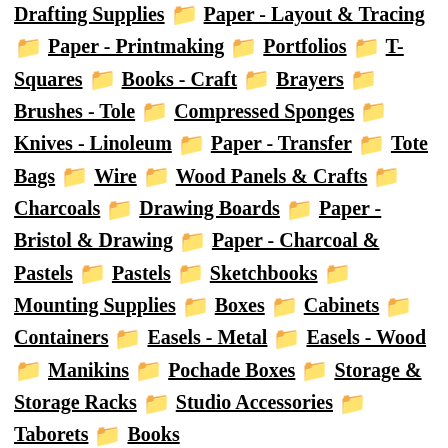Drafting Supplies 📁 Paper - Layout & Tracing 📁 Paper - Printmaking 📁 Portfolios 📁 T-Squares 📁 Books - Craft 📁 Brayers 📁 Brushes - Tole 📁 Compressed Sponges 📁 Knives - Linoleum 📁 Paper - Transfer 📁 Tote Bags 📁 Wire 📁 Wood Panels & Crafts 📁 Charcoals 📁 Drawing Boards 📁 Paper - Bristol & Drawing 📁 Paper - Charcoal & Pastels 📁 Pastels 📁 Sketchbooks 📁 Mounting Supplies 📁 Boxes 📁 Cabinets 📁 Containers 📁 Easels - Metal 📁 Easels - Wood 📁 Manikins 📁 Pochade Boxes 📁 Storage & Storage Racks 📁 Studio Accessories 📁 Taborets 📁 Books